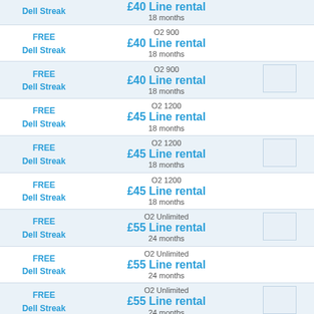| Phone | Plan | Image |
| --- | --- | --- |
| Dell Streak | £40 Line rental
18 months |  |
| FREE
Dell Streak | O2 900
£40 Line rental
18 months |  |
| FREE
Dell Streak | O2 900
£40 Line rental
18 months | image |
| FREE
Dell Streak | O2 1200
£45 Line rental
18 months |  |
| FREE
Dell Streak | O2 1200
£45 Line rental
18 months | image |
| FREE
Dell Streak | O2 1200
£45 Line rental
18 months |  |
| FREE
Dell Streak | O2 Unlimited
£55 Line rental
24 months | image |
| FREE
Dell Streak | O2 Unlimited
£55 Line rental
24 months |  |
| FREE
Dell Streak | O2 Unlimited
£55 Line rental
24 months | image |
| FREE
Dell Streak | O2 Unlimited
£60 Line rental
18 months |  |
| FREE
Dell Streak | O2 Unlimited
£60 Line rental | image |